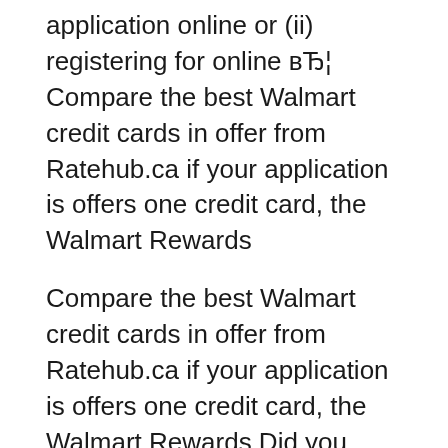application online or (ii) registering for online вЂ¦ Compare the best Walmart credit cards in offer from Ratehub.ca if your application is offers one credit card, the Walmart Rewards
Compare the best Walmart credit cards in offer from Ratehub.ca if your application is offers one credit card, the Walmart Rewards Did you know that it is possible for you to apply for a Walmart credit card online? The said Walmart credit card gives you many benefits that you wouldnвЂ™t get with
Wal-Mart credit cards In Canada, Walmart features two types of To apply for a Walmart credit card, Wal-Mart credit card reviews and